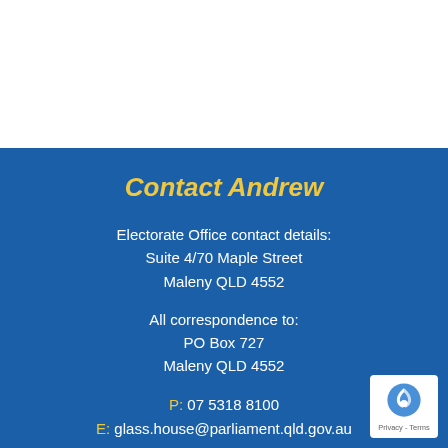Contact Andrew
Electorate Office contact details:
Suite 4/70 Maple Street
Maleny QLD 4552
All correspondence to:
PO Box 727
Maleny QLD 4552
P: 07 5318 8100
E: glass.house@parliament.qld.gov.au